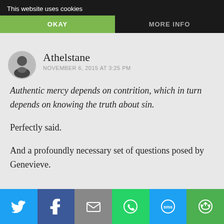This website uses cookies
OKAY
MORE INFO
Athelstane
NOVEMBER 6, 2015 AT 3:25 PM
Authentic mercy depends on contrition, which in turn depends on knowing the truth about sin.
Perfectly said.
And a profoundly necessary set of questions posed by Genevieve.